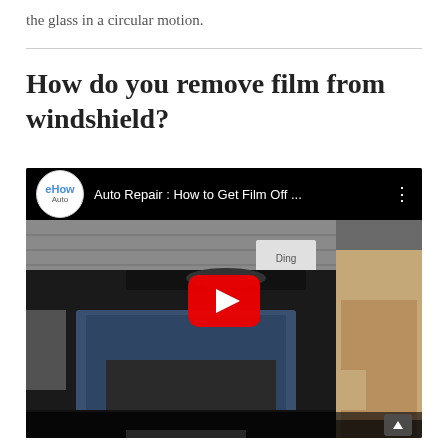the glass in a circular motion.
How do you remove film from windshield?
[Figure (screenshot): YouTube video thumbnail showing eHow Auto channel video titled 'Auto Repair : How to Get Film Off ...' with a car in a garage and a YouTube play button overlay]